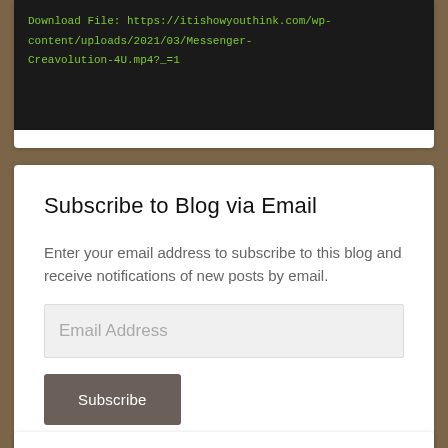Download File: https://itishowyouthink.com/wp-content/uploads/2021/03/Messenger-Creavolution-4U.mp4?_=1
Subscribe to Blog via Email
Enter your email address to subscribe to this blog and receive notifications of new posts by email.
Join 126 other subscribers